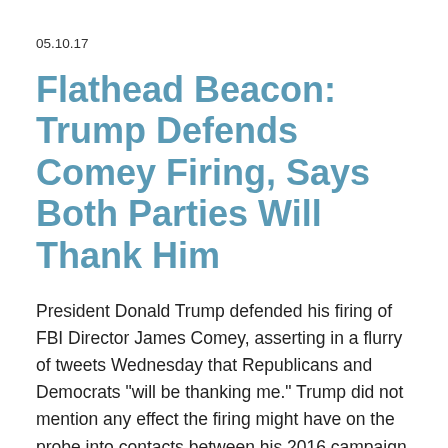05.10.17
Flathead Beacon: Trump Defends Comey Firing, Says Both Parties Will Thank Him
President Donald Trump defended his firing of FBI Director James Comey, asserting in a flurry of tweets Wednesday that Republicans and Democrats "will be thanking me." Trump did not mention any effect the firing might have on the probe into contacts between his 2016 campaign and Russia. Instead, Trump tweeted that he'll name a replacement "who will do a far better job, bringing back the spirit and practice of the FBI"